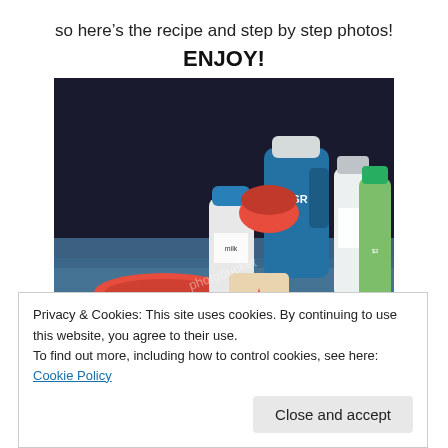so here's the recipe and step by step photos!
ENJOY!
[Figure (photo): Photo of baking/cooking ingredients on a table: bananas, a red mixing bowl, bottles of milk and other liquids (CSR brand sugar, green apple juice, etc.), on a blue patterned surface. Photo has a photobucket watermark.]
Privacy & Cookies: This site uses cookies. By continuing to use this website, you agree to their use.
To find out more, including how to control cookies, see here: Cookie Policy
Close and accept